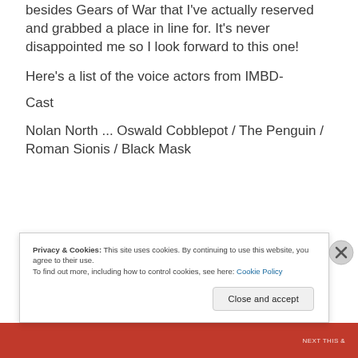besides Gears of War that I've actually reserved and grabbed a place in line for. It's never disappointed me so I look forward to this one!
Here's a list of the voice actors from IMBD-
Cast
Nolan North ... Oswald Cobblepot / The Penguin / Roman Sionis / Black Mask
Privacy & Cookies: This site uses cookies. By continuing to use this website, you agree to their use.
To find out more, including how to control cookies, see here: Cookie Policy
Close and accept